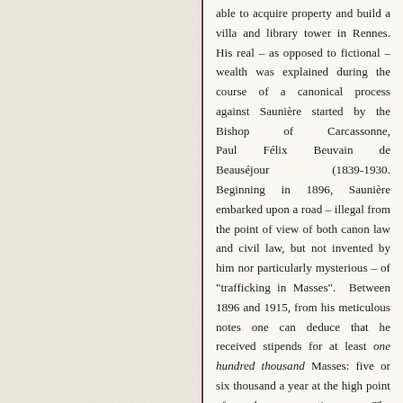able to acquire property and build a villa and library tower in Rennes. His real – as opposed to fictional – wealth was explained during the course of a canonical process against Saunière started by the Bishop of Carcassonne, Paul Félix Beuvain de Beauséjour (1839-1930. Beginning in 1896, Saunière embarked upon a road – illegal from the point of view of both canon law and civil law, but not invented by him nor particularly mysterious – of "trafficking in Masses". Between 1896 and 1915, from his meticulous notes one can deduce that he received stipends for at least one hundred thousand Masses: five or six thousand a year at the high point of the operation. The documentation exists: both in